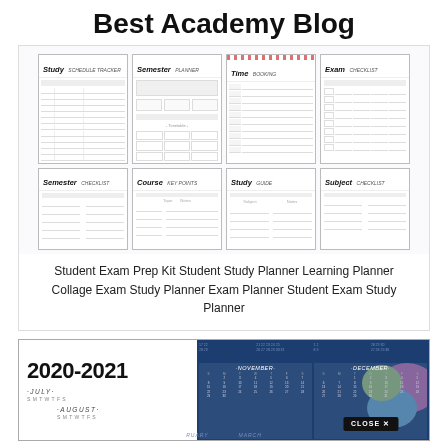Best Academy Blog
[Figure (illustration): Grid of 8 student planner/exam prep worksheet templates arranged in 2 rows of 4, showing Study Schedule Tracker, Semester Planner, Time Booking, Exam Checklist, Semester Checklist, Course Key Points, Study Guide, Subject Checklist]
Student Exam Prep Kit Student Study Planner Learning Planner Collage Exam Study Planner Exam Planner Student Exam Study Planner
[Figure (screenshot): 2020-2021 academic calendar preview on dark navy background showing months July, August, November, December, January, March with a CLOSE X button overlay]